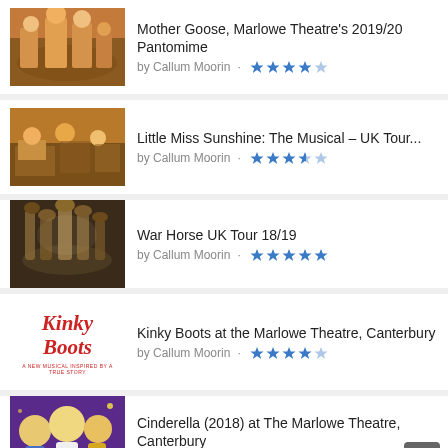Mother Goose, Marlowe Theatre's 2019/20 Pantomime by Callum Moorin · ★★★★☆
Little Miss Sunshine: The Musical – UK Tour... by Callum Moorin · ★★★½☆
War Horse UK Tour 18/19 by Callum Moorin · ★★★★★
Kinky Boots at the Marlowe Theatre, Canterbury by Callum Moorin · ★★★★☆
Cinderella (2018) at The Marlowe Theatre, Canterbury by Callum Moorin · ★★★★★